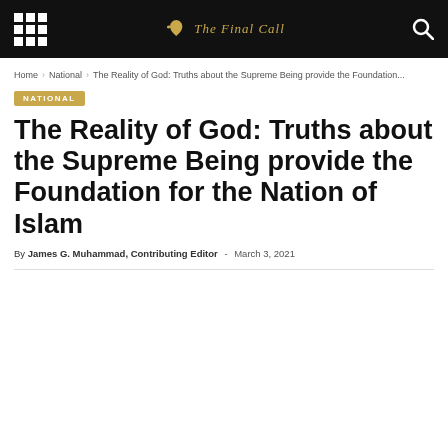The Final Call — Navigation bar with grid menu, logo, and search icon
Home › National › The Reality of God: Truths about the Supreme Being provide the Foundation...
NATIONAL
The Reality of God: Truths about the Supreme Being provide the Foundation for the Nation of Islam
By James G. Muhammad, Contributing Editor - March 3, 2021